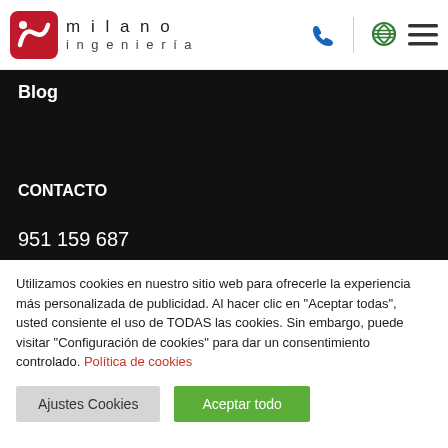milano ingeniería
Blog
CONTACTO
951 159 687
Utilizamos cookies en nuestro sitio web para ofrecerle la experiencia más personalizada de publicidad. Al hacer clic en "Aceptar todas", usted consiente el uso de TODAS las cookies. Sin embargo, puede visitar "Configuración de cookies" para dar un consentimiento controlado. Política de cookies
Ajustes Cookies | Aceptar todo